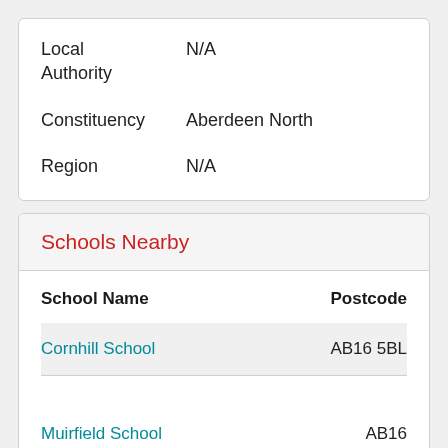| Field | Value |
| --- | --- |
| Local Authority | N/A |
| Constituency | Aberdeen North |
| Region | N/A |
Schools Nearby
| School Name | Postcode |
| --- | --- |
| Cornhill School | AB16 5BL |
| Muirfield School | AB16 |